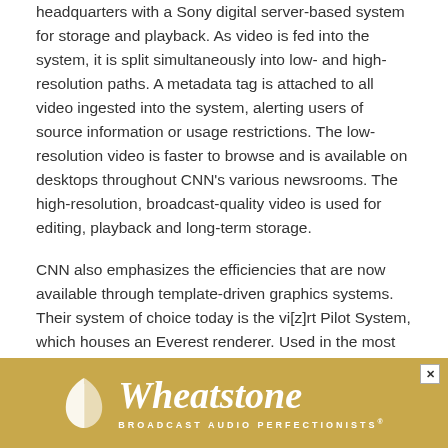headquarters with a Sony digital server-based system for storage and playback. As video is fed into the system, it is split simultaneously into low- and high-resolution paths. A metadata tag is attached to all video ingested into the system, alerting users of source information or usage restrictions. The low-resolution video is faster to browse and is available on desktops throughout CNN's various newsrooms. The high-resolution, broadcast-quality video is used for editing, playback and long-term storage.
CNN also emphasizes the efficiencies that are now available through template-driven graphics systems. Their system of choice today is the vi[z]rt Pilot System, which houses an Everest renderer. Used in the most efficient manner, the product represents a character generator, a still store and a DVE. When
[Figure (illustration): Wheatstone Broadcast Audio Perfectionists advertisement banner with golden/tan background, a white feather/leaf logo on the left, and the Wheatstone wordmark in white script font. Tagline reads BROADCAST AUDIO PERFECTIONISTS with a registered trademark symbol.]